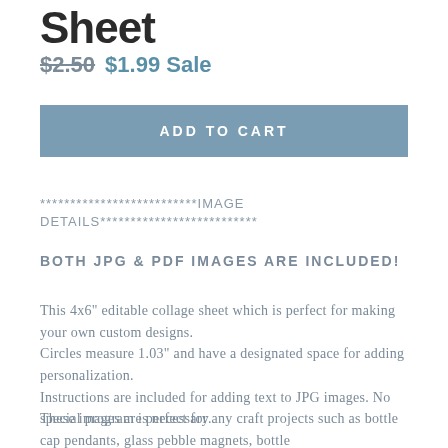Sheet
$2.50  $1.99 Sale
ADD TO CART
**************************IMAGE DETAILS**************************
BOTH JPG & PDF IMAGES ARE INCLUDED!
This 4x6" editable collage sheet which is perfect for making your own custom designs.
Circles measure 1.03" and have a designated space for adding personalization.
Instructions are included for adding text to JPG images. No special program is necessary.
These images are perfect for any craft projects such as bottle cap pendants, glass pebble magnets, bottle